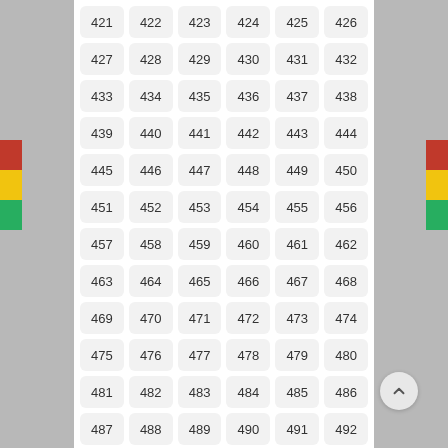| 421 | 422 | 423 | 424 | 425 | 426 |
| 427 | 428 | 429 | 430 | 431 | 432 |
| 433 | 434 | 435 | 436 | 437 | 438 |
| 439 | 440 | 441 | 442 | 443 | 444 |
| 445 | 446 | 447 | 448 | 449 | 450 |
| 451 | 452 | 453 | 454 | 455 | 456 |
| 457 | 458 | 459 | 460 | 461 | 462 |
| 463 | 464 | 465 | 466 | 467 | 468 |
| 469 | 470 | 471 | 472 | 473 | 474 |
| 475 | 476 | 477 | 478 | 479 | 480 |
| 481 | 482 | 483 | 484 | 485 | 486 |
| 487 | 488 | 489 | 490 | 491 | 492 |